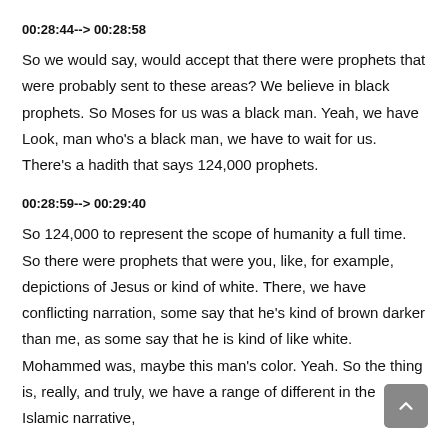00:28:44--> 00:28:58
So we would say, would accept that there were prophets that were probably sent to these areas? We believe in black prophets. So Moses for us was a black man. Yeah, we have Look, man who's a black man, we have to wait for us. There's a hadith that says 124,000 prophets.
00:28:59--> 00:29:40
So 124,000 to represent the scope of humanity a full time. So there were prophets that were you, like, for example, depictions of Jesus or kind of white. There, we have conflicting narration, some say that he's kind of brown darker than me, as some say that he is kind of like white. Mohammed was, maybe this man's color. Yeah. So the thing is, really, and truly, we have a range of different in the Islamic narrative,